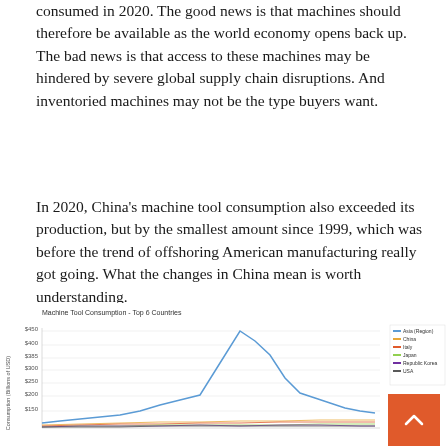consumed in 2020. The good news is that machines should therefore be available as the world economy opens back up. The bad news is that access to these machines may be hindered by severe global supply chain disruptions. And inventoried machines may not be the type buyers want.
In 2020, China's machine tool consumption also exceeded its production, but by the smallest amount since 1999, which was before the trend of offshoring American manufacturing really got going. What the changes in China mean is worth understanding.
[Figure (line-chart): Line chart showing machine tool consumption for top 6 countries over time, with y-axis labels $450, $400, $385, $300, $250, $200, $150. A prominent blue line peaks sharply around 2011 then declines. A legend is visible in the upper right.]